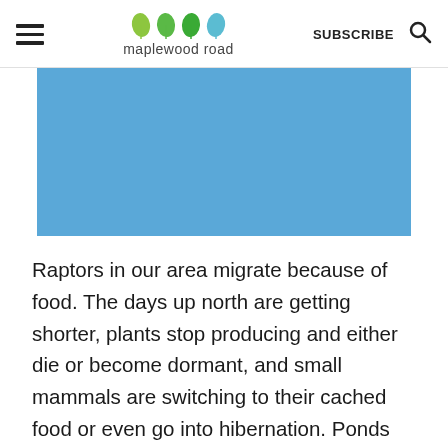maplewood road
[Figure (photo): Blue sky photograph, cropped — solid light blue rectangular image]
Raptors in our area migrate because of food. The days up north are getting shorter, plants stop producing and either die or become dormant, and small mammals are switching to their cached food or even go into hibernation. Ponds